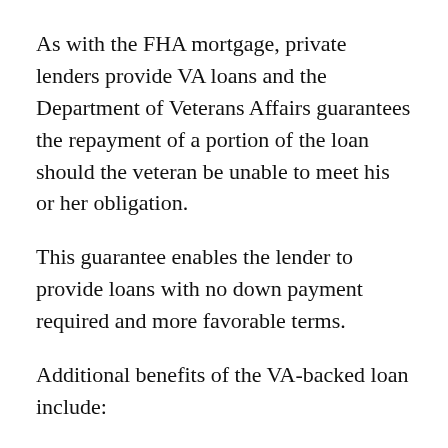As with the FHA mortgage, private lenders provide VA loans and the Department of Veterans Affairs guarantees the repayment of a portion of the loan should the veteran be unable to meet his or her obligation.
This guarantee enables the lender to provide loans with no down payment required and more favorable terms.
Additional benefits of the VA-backed loan include:
There is no private mortgage insurance required
The VA limits...